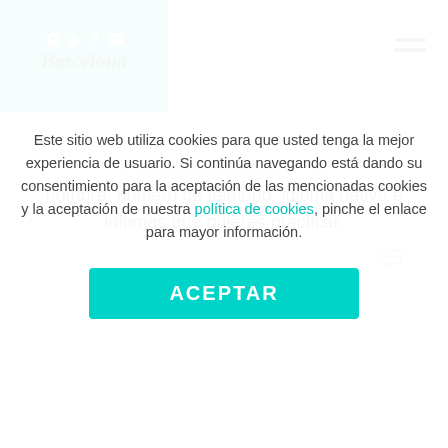[Figure (logo): Barcelona Language Exchange logo with teal background, icons (location, airplane, wine, chat), italic text 'Barcelona' and 'language Exchange']
mandanos un correo a info@spaniquitous.com la nombre, número de teléfono, idioma nativo e idiomas que quieres practicar.
[Figure (infographic): Orange and dark purple image strip with location/travel/activity icons in white on orange background, and a purple grid/cityscape pattern]
Este sitio web utiliza cookies para que usted tenga la mejor experiencia de usuario. Si continúa navegando está dando su consentimiento para la aceptación de las mencionadas cookies y la aceptación de nuestra política de cookies, pinche el enlace para mayor información.
ACEPTAR